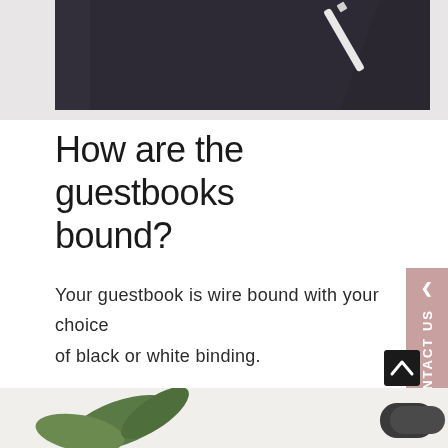[Figure (photo): Top portion of a dark navy/black notebook or guestbook on a light grey background, with what appears to be a white pen or chalk.]
How are the guestbooks bound?
Your guestbook is wire bound with your choice of black or white binding.
This type of binding allows your guestbook to open and lay flat (see the example in the photo above). This makes it easier for guests to write their messages and stick in polaroid pictures!
[Figure (photo): Bottom strip of a photo showing green leaves and what appears to be a rolled item, on a white background.]